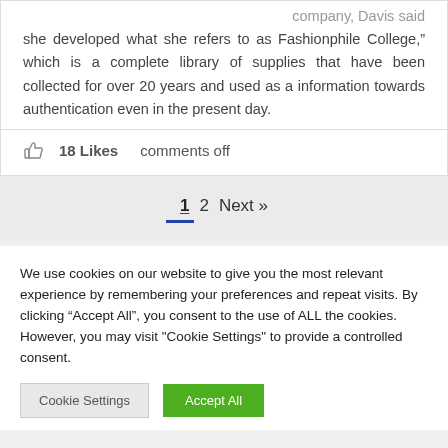company, Davis said she developed what she refers to as Fashionphile College," which is a complete library of supplies that have been collected for over 20 years and used as a information towards authentication even in the present day.
18 Likes    comments off
1  2  Next »
We use cookies on our website to give you the most relevant experience by remembering your preferences and repeat visits. By clicking "Accept All", you consent to the use of ALL the cookies. However, you may visit "Cookie Settings" to provide a controlled consent.
Cookie Settings   Accept All